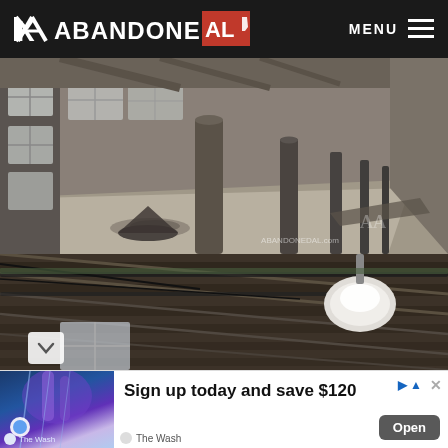ABANDONED AL — MENU
[Figure (photo): Interior of an abandoned industrial building, wide dusty floor with concrete columns, large windows along left wall, debris on floor, perspective view down the length of the space. Watermark: ABANDONEDAL.com]
[Figure (photo): Looking up at an abandoned building's ceiling showing exposed wooden beams and joists, metal pipes, a large white industrial light fixture, and a window visible at lower left.]
Sign up today and save $120
Open
The Wash